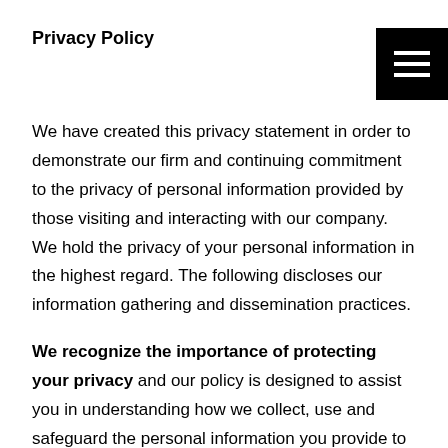Privacy Policy
We have created this privacy statement in order to demonstrate our firm and continuing commitment to the privacy of personal information provided by those visiting and interacting with our company. We hold the privacy of your personal information in the highest regard. The following discloses our information gathering and dissemination practices.
We recognize the importance of protecting your privacy and our policy is designed to assist you in understanding how we collect, use and safeguard the personal information you provide to us and to assist you in making informed decisions when using our site. This policy will be continuously assessed